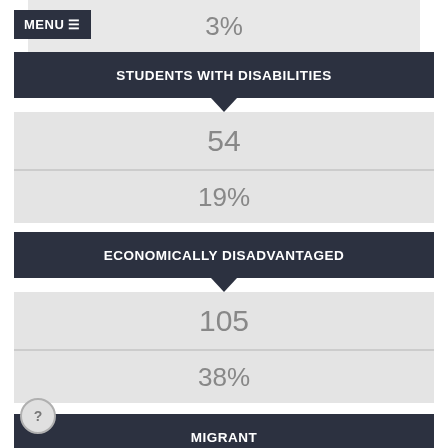3%
MENU
STUDENTS WITH DISABILITIES
54
19%
ECONOMICALLY DISADVANTAGED
105
38%
MIGRANT